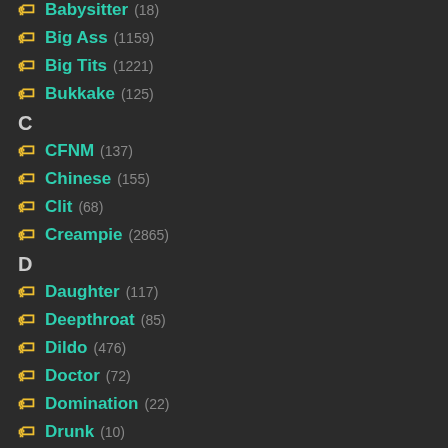Babysitter (18)
Big Ass (1159)
Big Tits (1221)
Bukkake (125)
C
CFNM (137)
Chinese (155)
Clit (68)
Creampie (2865)
D
Daughter (117)
Deepthroat (85)
Dildo (476)
Doctor (72)
Domination (22)
Drunk (10)
E
E... (...)